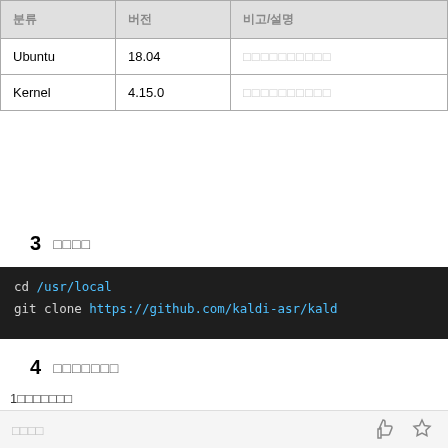| 분류 | 버전 | 비고/설명 |
| --- | --- | --- |
| Ubuntu | 18.04 | □□□□□□□□□□ |
| Kernel | 4.15.0 | □□□□□□□□□□ |
3  □□□□
[Figure (screenshot): Dark terminal code block showing: cd /usr/local | git clone https://github.com/kaldi-asr/kald...]
4  □□□□□□□
1□□□□□□□
[Figure (screenshot): Dark terminal code block showing: cp -a /etc/apt/sources.list /etc/apt/source... | wget -O /etc/apt/sources.list https://mirr...]
□□□□